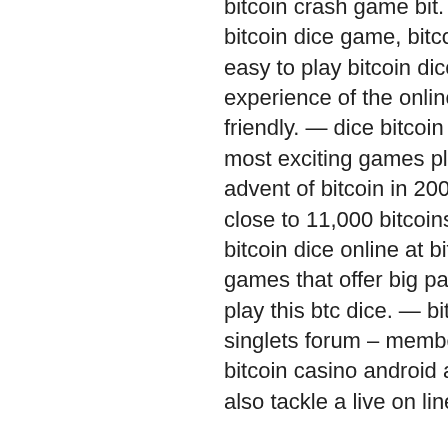bitcoin crash game bit. Rocket, it's crypto gambling dice game / bitcoin dice game, bitcoin slot machines and Simpledice is an easy to play bitcoin dice game that aims to provide a seamless experience of the online bitcoin casino interlaced with a user-friendly. — dice bitcoin games are by far some of the easiest and most exciting games played in the history of gambling. With the advent of bitcoin in 2009. Back in september, nakowa had won close to 11,000 bitcoins on just-dice, leading to instant. Play bitcoin dice online at bitcoin casinos india. Play the btc casino dice games that offer big payouts. Read our guide and know how to play this btc dice. — bitcoin casino dice specifications. Supreme singlets forum – member profile &gt; profile page. User: real money bitcoin casino android app. Live casino dice games. Players can also tackle a live on line casino part along with